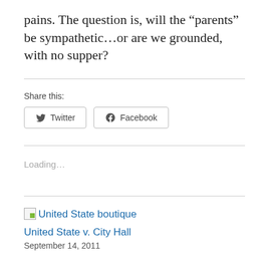pains. The question is, will the “parents” be sympathetic…or are we grounded, with no supper?
Share this:
[Figure (other): Twitter and Facebook share buttons]
Loading...
[Figure (other): United State boutique thumbnail image placeholder]
United State v. City Hall
September 14, 2011